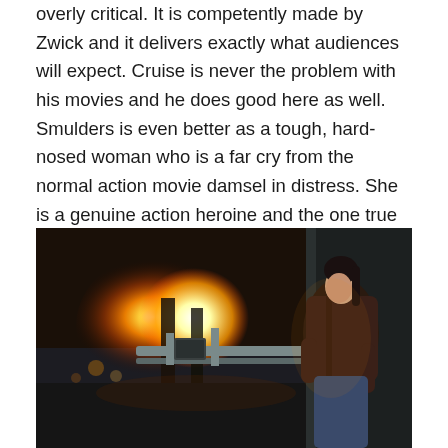overly critical. It is competently made by Zwick and it delivers exactly what audiences will expect. Cruise is never the problem with his movies and he does good here as well. Smulders is even better as a tough, hard-nosed woman who is a far cry from the normal action movie damsel in distress. She is a genuine action heroine and the one true refreshing element.
[Figure (photo): A dark-haired woman in a brown leather jacket crouches behind metal cover in a nighttime urban scene with a large explosion and fire in the background.]